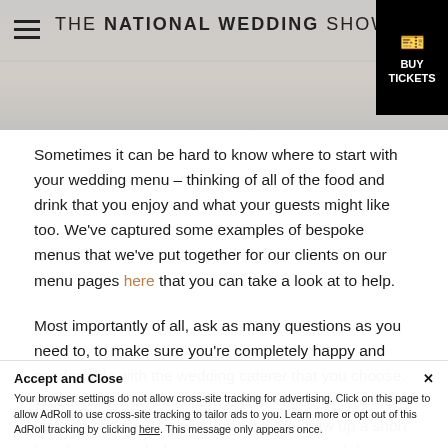THE NATIONAL WEDDING SHOW | BUY TICKETS
Sometimes it can be hard to know where to start with your wedding menu – thinking of all of the food and drink that you enjoy and what your guests might like too. We've captured some examples of bespoke menus that we've put together for our clients on our menu pages here that you can take a look at to help.
Most importantly of all, ask as many questions as you need to, to make sure you're completely happy and comfortable with the wedding caterer that you choose. Whether the caterer is part of your venue, or whether you can choose whoever you wish, do draw up a short list of questions before your menu tasting and during your tasting too. Get friends and family involved to help you along the way as they may think of things that you haven't
Accept and Close ×
Your browser settings do not allow cross-site tracking for advertising. Click on this page to allow AdRoll to use cross-site tracking to tailor ads to you. Learn more or opt out of this AdRoll tracking by clicking here. This message only appears once.